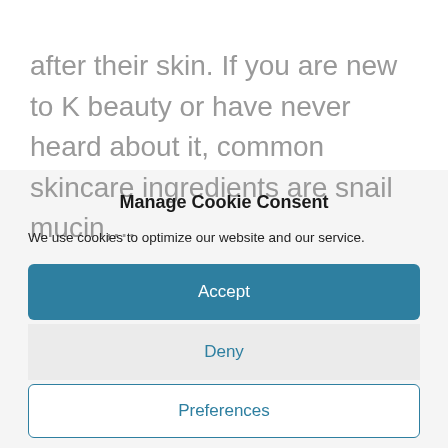after their skin. If you are new to K beauty or have never heard about it, common skincare ingredients are snail mucin,...
Manage Cookie Consent
We use cookies to optimize our website and our service.
Accept
Deny
Preferences